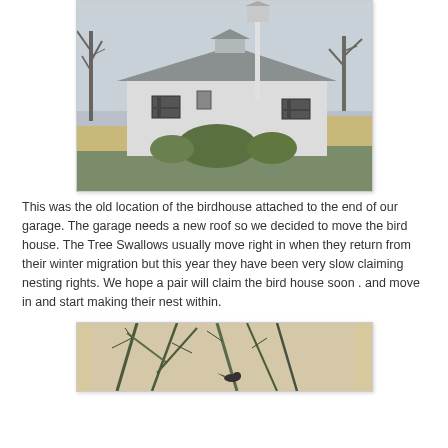[Figure (photo): Exterior photo of a white garage/house with a birdhouse mounted on a tall pole, bare trees visible, overcast sky]
This was the old location of the birdhouse attached to the end of our garage. The garage needs a new roof so we decided to move the bird house. The Tree Swallows usually move right in when they return from their winter migration but this year they have been very slow claiming nesting rights. We hope a pair will claim the bird house soon . and move in and start making their nest within.
[Figure (photo): Close-up photo of pine branches or nest material, partially visible at bottom of page]